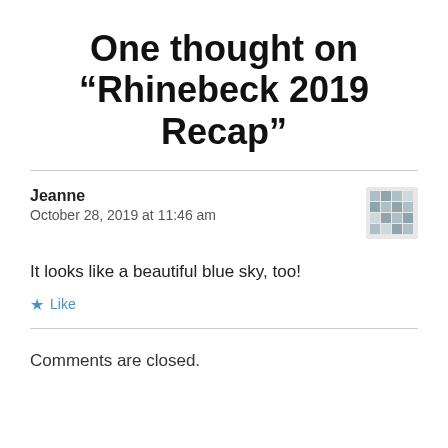One thought on “Rhinebeck 2019 Recap”
Jeanne
October 28, 2019 at 11:46 am
It looks like a beautiful blue sky, too!
Like
Comments are closed.